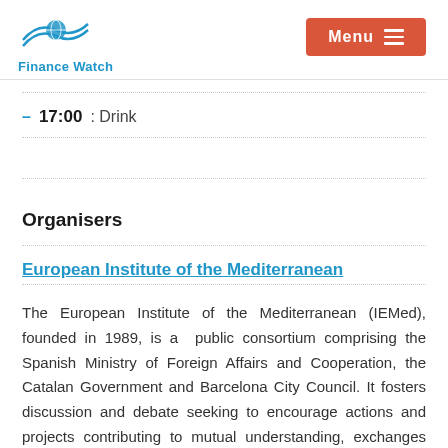Finance Watch | Menu
– 17:00: Drink
Organisers
European Institute of the Mediterranean
The European Institute of the Mediterranean (IEMed), founded in 1989, is a public consortium comprising the Spanish Ministry of Foreign Affairs and Cooperation, the Catalan Government and Barcelona City Council. It fosters discussion and debate seeking to encourage actions and projects contributing to mutual understanding, exchanges and cooperation between different